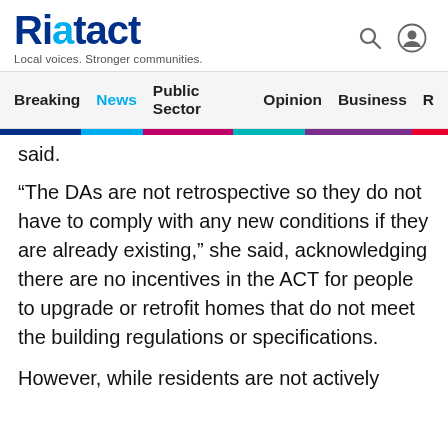Riotact — Local voices. Stronger communities.
Breaking  News  Public Sector  Opinion  Business  R
said.
“The DAs are not retrospective so they do not have to comply with any new conditions if they are already existing,” she said, acknowledging there are no incentives in the ACT for people to upgrade or retrofit homes that do not meet the building regulations or specifications.
However, while residents are not actively